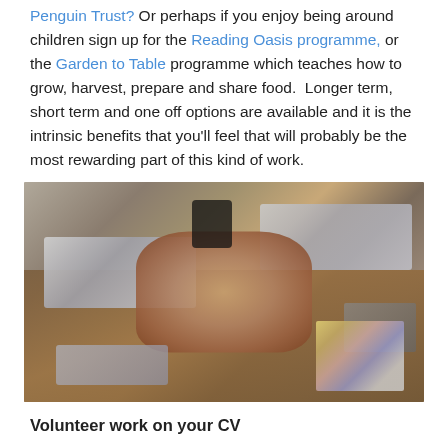Penguin Trust? Or perhaps if you enjoy being around children sign up for the Reading Oasis programme, or the Garden to Table programme which teaches how to grow, harvest, prepare and share food. Longer term, short term and one off options are available and it is the intrinsic benefits that you'll feel that will probably be the most rewarding part of this kind of work.
[Figure (photo): Overhead view of people fist-bumping over a wooden table with laptops, phones, and notebooks visible around them.]
Volunteer work on your CV
After attending the...